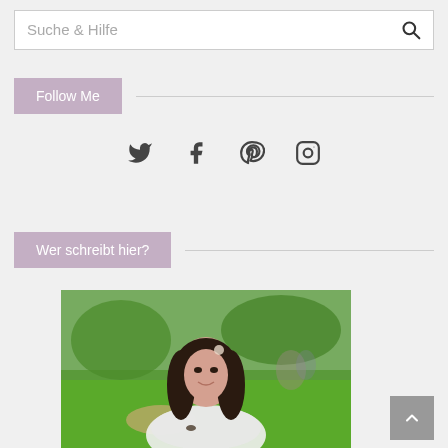Suche & Hilfe
Follow Me
[Figure (other): Social media icons: Twitter, Facebook, Pinterest, Instagram]
Wer schreibt hier?
[Figure (photo): Young woman with long dark hair sitting outdoors in a park, wearing a white top, resting chin on hand, smiling]